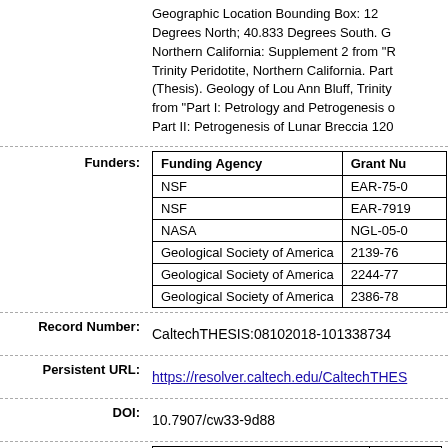Geographic Location Bounding Box: 122... Degrees North; 40.833 Degrees South. G... Northern California: Supplement 2 from "R... Trinity Peridotite, Northern California. Part... (Thesis). Geology of Lou Ann Bluff, Trinity... from "Part I: Petrology and Petrogenesis o... Part II: Petrogenesis of Lunar Breccia 120...
| Funding Agency | Grant Nu... |
| --- | --- |
| NSF | EAR-75-0... |
| NSF | EAR-7919... |
| NASA | NGL-05-0... |
| Geological Society of America | 2139-76 |
| Geological Society of America | 2244-77 |
| Geological Society of America | 2386-78 |
Record Number: CaltechTHESIS:08102018-101338734
Persistent URL: https://resolver.caltech.edu/CaltechTHES...
DOI: 10.7907/cw33-9d88
| URL | URL Type |
| --- | --- |
| https://doi.org/10.22002/D1.1763 | DOI |